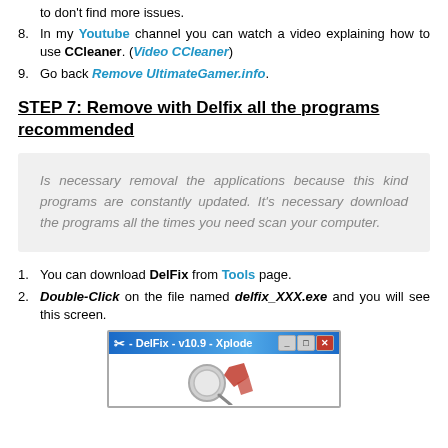to don't find more issues.
8. In my Youtube channel you can watch a video explaining how to use CCleaner. (Video CCleaner)
9. Go back Remove UltimateGamer.info.
STEP 7: Remove with Delfix all the programs recommended
Is necessary removal the applications because this kind programs are constantly updated. It's necessary download the programs all the times you need scan your computer.
1. You can download DelFix from Tools page.
2. Double-Click on the file named delfix_XXX.exe and you will see this screen.
[Figure (screenshot): Screenshot of DelFix v10.9 - Xplode application window with title bar and icon]